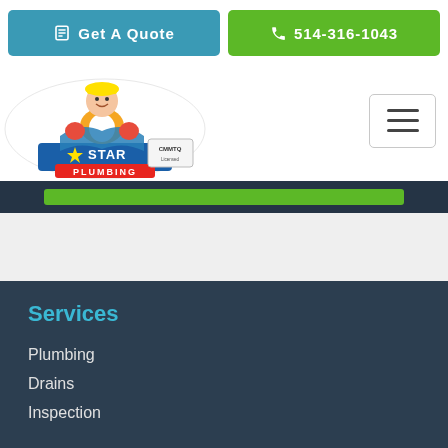Get A Quote | 514-316-1043
[Figure (logo): 5 Star Plumbing logo with cartoon plumber and CMMTQ badge]
[Figure (other): Hamburger/toggle navigation menu button]
Services
Plumbing
Drains
Inspection